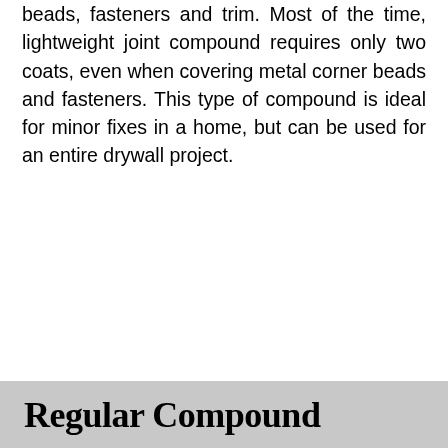beads, fasteners and trim. Most of the time, lightweight joint compound requires only two coats, even when covering metal corner beads and fasteners. This type of compound is ideal for minor fixes in a home, but can be used for an entire drywall project.
Regular Compound